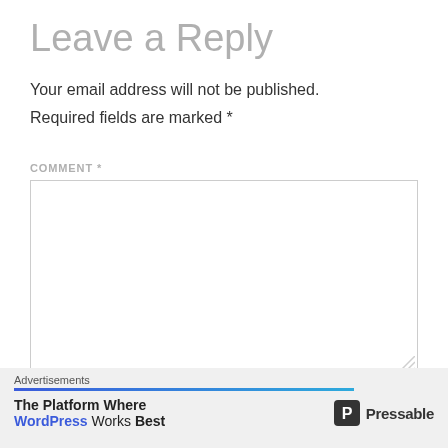Leave a Reply
Your email address will not be published. Required fields are marked *
COMMENT *
[Figure (screenshot): Empty comment textarea input box with a light gray border]
[Figure (screenshot): Close (X) button circle icon]
Advertisements
The Platform Where WordPress Works Best  Pressable